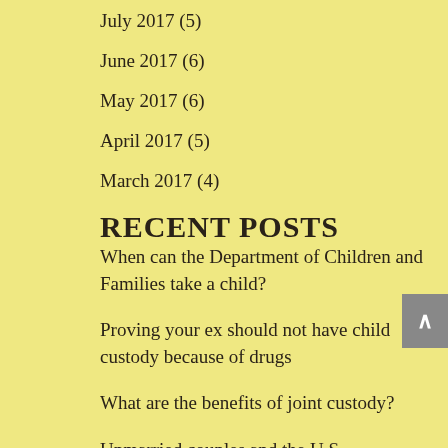July 2017 (5)
June 2017 (6)
May 2017 (6)
April 2017 (5)
March 2017 (4)
RECENT POSTS
When can the Department of Children and Families take a child?
Proving your ex should not have child custody because of drugs
What are the benefits of joint custody?
Unmarried couples and the U.S. Constitution
How to speed up the reunification process